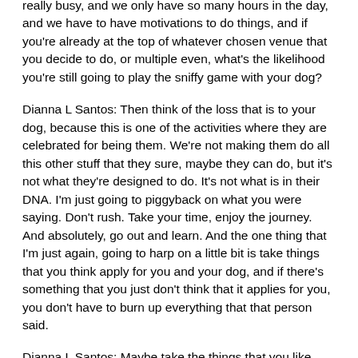really busy, and we only have so many hours in the day, and we have to have motivations to do things, and if you're already at the top of whatever chosen venue that you decide to do, or multiple even, what's the likelihood you're still going to play the sniffy game with your dog?
Dianna L Santos: Then think of the loss that is to your dog, because this is one of the activities where they are celebrated for being them. We're not making them do all this other stuff that they sure, maybe they can do, but it's not what they're designed to do. It's not what is in their DNA. I'm just going to piggyback on what you were saying. Don't rush. Take your time, enjoy the journey. And absolutely, go out and learn. And the one thing that I'm just again, going to harp on a little bit is take things that you think apply for you and your dog, and if there's something that you just don't think that it applies for you, you don't have to burn up everything that that person said.
Dianna L Santos: Maybe take the things that you like, and then leave the other stuff behind, or maybe just